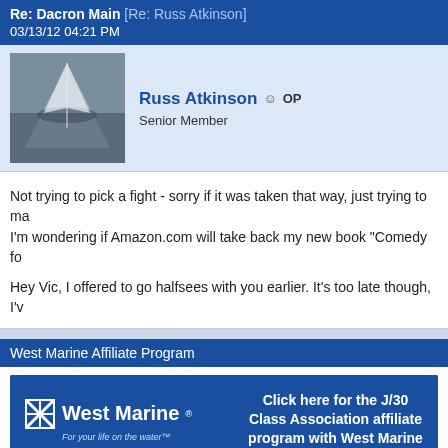Re: Dacron Main [Re: Russ Atkinson]
03/13/12 04:21 PM
Russ Atkinson ☺ OP
Senior Member
Not trying to pick a fight - sorry if it was taken that way, just trying to ma... I'm wondering if Amazon.com will take back my new book "Comedy fo...

Hey Vic, I offered to go halfsees with you earlier. It's too late though, I'v...
West Marine Affiliate Program
[Figure (logo): West Marine logo banner with text 'Click here for the J/30 Class Association affiliate program with West Marine']
The J/30 Class Association has partnered with West Marine and is now a... affiliate program. You can support the J/30 Class when you make your W... J/30 Class Association receives a percentage of sales from your purcha... website. Click the logo above and you will be directed to the West Marine...